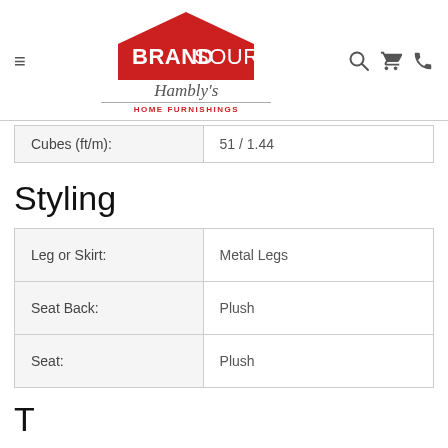[Figure (logo): BrandSource Hambly's Home Furnishings logo with hamburger menu and nav icons]
| Cubes (ft/m): | 51 / 1.44 |
Styling
| Leg or Skirt: | Metal Legs |
| Seat Back: | Plush |
| Seat: | Plush |
T